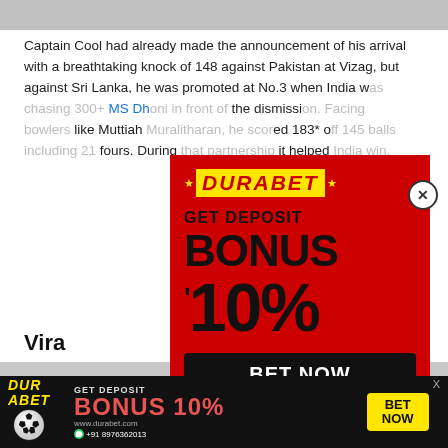[Figure (screenshot): Gray image placeholder at top of article page]
Captain Cool had already made the announcement of his arrival with a breathtaking knock of 148 against Pakistan at Vizag, but against Sri Lanka, he was promoted at No.3 when India w... MS Dh... he dismissi... like Muttiah... ed 183* o... fours. During... d it helped...
Vira
[Figure (infographic): DURABET popup advertisement on red background. GET DEPOSIT BONUS 10% with BET NOW button and soccer ball. Phone: +91 8976362013]
[Figure (infographic): DURABET bottom banner advertisement. GET DEPOSIT BONUS 10% BET NOW. www.durabet.com +91 8976362013]